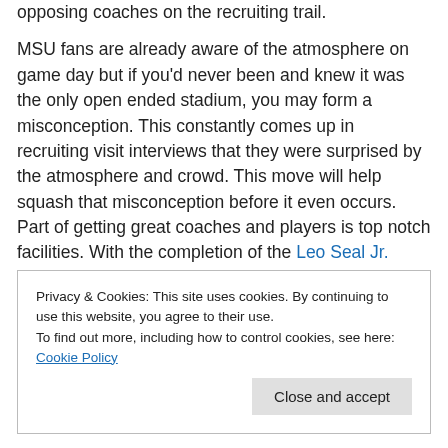opposing coaches on the recruiting trail.
MSU fans are already aware of the atmosphere on game day but if you'd never been and knew it was the only open ended stadium, you may form a misconception. This constantly comes up in recruiting visit interviews that they were surprised by the atmosphere and crowd. This move will help squash that misconception before it even occurs. Part of getting great coaches and players is top notch facilities. With the completion of the Leo Seal Jr. Football Complex and the ongoing expansion and renovations at
Privacy & Cookies: This site uses cookies. By continuing to use this website, you agree to their use. To find out more, including how to control cookies, see here: Cookie Policy
Close and accept